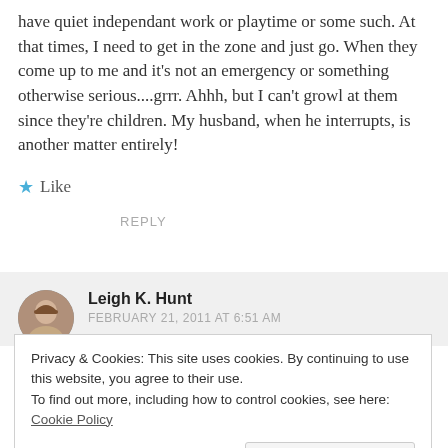have quiet independant work or playtime or some such. At that times, I need to get in the zone and just go. When they come up to me and it's not an emergency or something otherwise serious....grrr. Ahhh, but I can't growl at them since they're children. My husband, when he interrupts, is another matter entirely!
★ Like
REPLY
Leigh K. Hunt
FEBRUARY 21, 2011 AT 6:51 AM
Privacy & Cookies: This site uses cookies. By continuing to use this website, you agree to their use. To find out more, including how to control cookies, see here: Cookie Policy
Close and accept